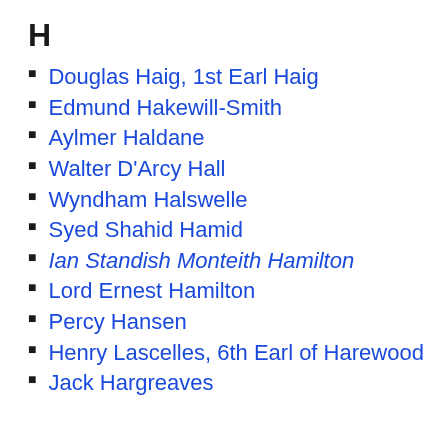H
Douglas Haig, 1st Earl Haig
Edmund Hakewill-Smith
Aylmer Haldane
Walter D'Arcy Hall
Wyndham Halswelle
Syed Shahid Hamid
Ian Standish Monteith Hamilton
Lord Ernest Hamilton
Percy Hansen
Henry Lascelles, 6th Earl of Harewood
Jack Hargreaves